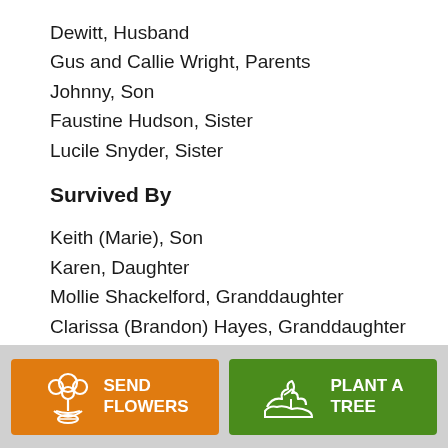Dewitt, Husband
Gus and Callie Wright, Parents
Johnny, Son
Faustine Hudson, Sister
Lucile Snyder, Sister
Survived By
Keith (Marie), Son
Karen, Daughter
Mollie Shackelford, Granddaughter
Clarissa (Brandon) Hayes, Granddaughter
Addison Hayes, Great Granddaughter
a host of Nieces and Nephews
[Figure (other): Send Flowers button (orange) and Plant a Tree button (green) at the bottom of the page]